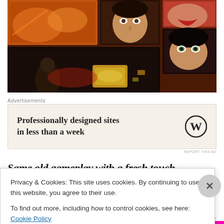[Figure (illustration): Video game artwork showing comic-book style panels with multiple character faces and scenes in warm orange and dark tones]
Advertisements
[Figure (other): Advertisement banner with beige background: 'Professionally designed sites in less than a week' with WordPress logo]
REPORT THIS AD
Same old gameplay with a fresh touch
Privacy & Cookies: This site uses cookies. By continuing to use this website, you agree to their use.
To find out more, including how to control cookies, see here: Cookie Policy